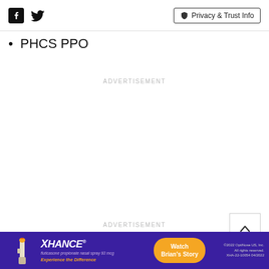Facebook Twitter Privacy & Trust Info
PHCS PPO
ADVERTISEMENT
ADVERTISEMENT
[Figure (other): Xhance advertisement banner: purple background with Xhance logo, fluticasone propionate nasal spray device image, orange 'Watch Brian's Story' button, and copyright text '©2022 OptiNose US, Inc. All rights reserved. XHA-22-10054 04/2022']